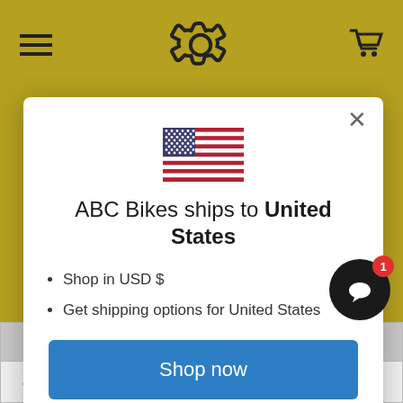[Figure (screenshot): Website header with olive/gold background showing hamburger menu icon on left, gear/cog icon in center, and shopping cart icon on upper right]
[Figure (illustration): US flag emoji/icon centered in modal dialog]
ABC Bikes ships to United States
Shop in USD $
Get shipping options for United States
Shop now
Change shipping country
| degrees | degrees | in | cm |